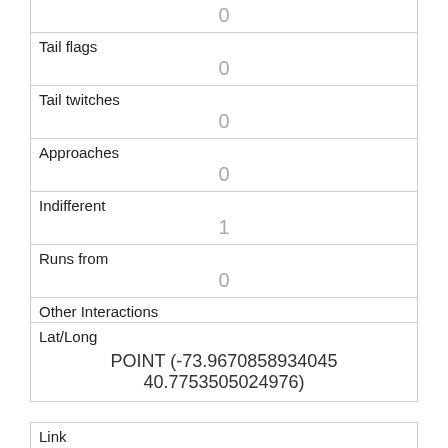|  | 0 |
| Tail flags | 0 |
| Tail twitches | 0 |
| Approaches | 0 |
| Indifferent | 1 |
| Runs from | 0 |
| Other Interactions |  |
| Lat/Long | POINT (-73.9670858934045 40.7753505024976) |
| Link | 1283 |
| rowid | 1283 |
| longitude |  |